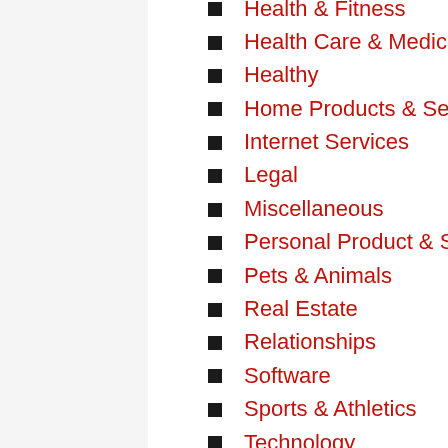Health & Fitness
Health Care & Medical
Healthy
Home Products & Services
Internet Services
Legal
Miscellaneous
Personal Product & Services
Pets & Animals
Real Estate
Relationships
Software
Sports & Athletics
Technology
Travel
Web Resources